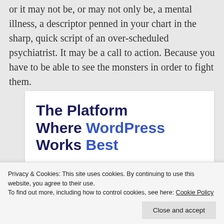or it may not be, or may not only be, a mental illness, a descriptor penned in your chart in the sharp, quick script of an over-scheduled psychiatrist. It may be a call to action. Because you have to be able to see the monsters in order to fight them.
[Figure (other): Advertisement banner: 'The Platform Where WordPress Works Best' with a blue 'SEE PRICING' button]
Privacy & Cookies: This site uses cookies. By continuing to use this website, you agree to their use.
To find out more, including how to control cookies, see here: Cookie Policy
Close and accept